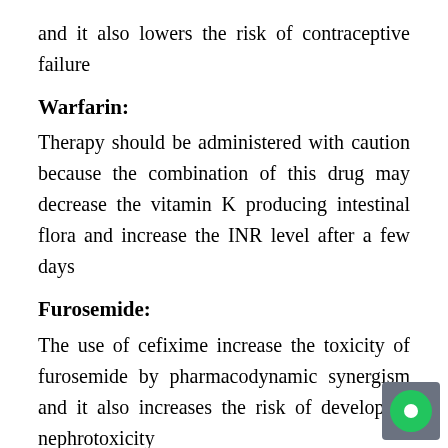and it also lowers the risk of contraceptive failure
Warfarin:
Therapy should be administered with caution because the combination of this drug may decrease the vitamin K producing intestinal flora and increase the INR level after a few days
Furosemide:
The use of cefixime increase the toxicity of furosemide by pharmacodynamic synergism and it also increases the risk of developing nephrotoxicity
Aspirin:
The use of cefixime will increase the effect aspirin by acidic drug competition for renal